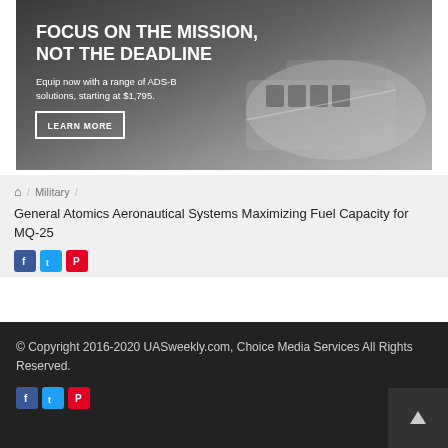[Figure (photo): Advertisement banner showing aircraft engine/cockpit area with dark background. Text overlay: FOCUS ON THE MISSION, NOT THE DEADLINE. Equip now with a range of ADS-B solutions, starting at $1,795. LEARN MORE button.]
⌂ / Military / General Atomics Aeronautical Systems Maximizing Fuel Capacity for MQ-25
Social icons: Facebook, Twitter, Pinterest
© Copyright 2016-2020 UASweekly.com, Choice Media Services All Rights Reserved.
Social icons: Facebook, Twitter, Pinterest (footer)